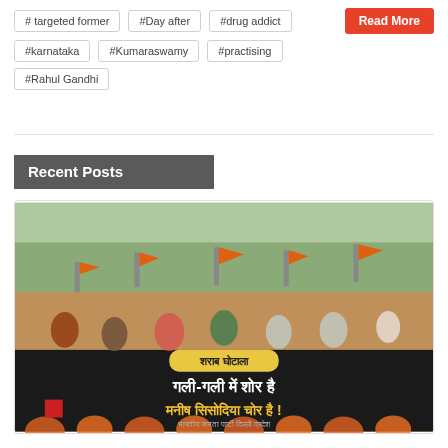# targeted former
#Day after
#drug addict
#karnataka
#Kumaraswamy
#practising
#Rahul Gandhi
Read More
Recent Posts
[Figure (photo): A protest rally with people holding orange BJP flags and banners. A large black banner reads in Hindi: 'गली-गली में शोर है मनीष सिसोदिया चोर है !' with a yellow label 'शराब घोटाला' (liquor scam). At the bottom text reads: भारतीय जनता पार्टी, दिल्ली प्रदेश.]